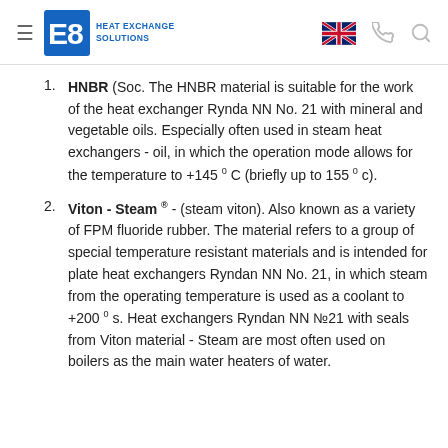E8 Heat Exchange Solutions
HNBR (Soc. The HNBR material is suitable for the work of the heat exchanger Rynda NN No. 21 with mineral and vegetable oils. Especially often used in steam heat exchangers - oil, in which the operation mode allows for the temperature to +145°C (briefly up to 155°c).
Viton - Steam ® - (steam viton). Also known as a variety of FPM fluoride rubber. The material refers to a group of special temperature resistant materials and is intended for plate heat exchangers Ryndan NN No. 21, in which steam from the operating temperature is used as a coolant to +200°s. Heat exchangers Ryndan NN №21 with seals from Viton material - Steam are most often used on boilers as the main water heaters of water.